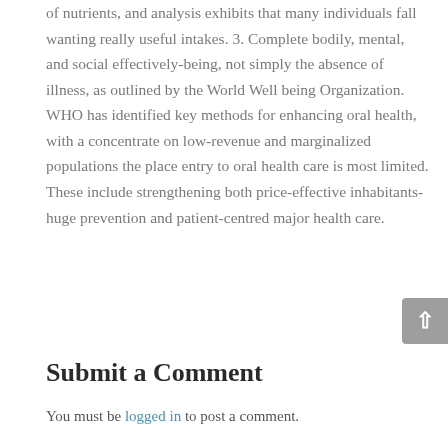of nutrients, and analysis exhibits that many individuals fall wanting really useful intakes. 3. Complete bodily, mental, and social effectively-being, not simply the absence of illness, as outlined by the World Well being Organization. WHO has identified key methods for enhancing oral health, with a concentrate on low-revenue and marginalized populations the place entry to oral health care is most limited. These include strengthening both price-effective inhabitants-huge prevention and patient-centred major health care.
Submit a Comment
You must be logged in to post a comment.